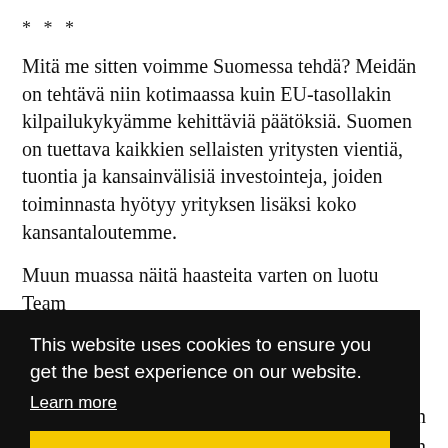* * *
Mitä me sitten voimme Suomessa tehdä? Meidän on tehtävä niin kotimaassa kuin EU-tasollakin kilpailukykyämme kehittäviä päätöksiä. Suomen on tuettava kaikkien sellaisten yritysten vientiä, tuontia ja kansainvälisiä investointeja, joiden toiminnasta hyötyy yrityksen lisäksi koko kansantaloutemme.
Muun muassa näitä haasteita varten on luotu Team
[Figure (screenshot): Cookie consent overlay banner with dark background. Text reads: 'This website uses cookies to ensure you get the best experience on our website.' with a 'Learn more' link and a yellow 'Got it!' button. Partial text visible on the right side: 'ttävä', 'monen', 'nen', 'seen'.]
Posted in Uncategorized.